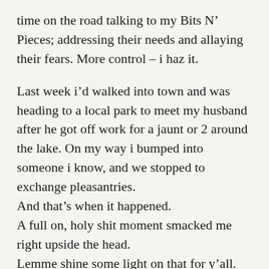time on the road talking to my Bits N’ Pieces; addressing their needs and allaying their fears. More control – i haz it.
Last week i’d walked into town and was heading to a local park to meet my husband after he got off work for a jaunt or 2 around the lake. On my way i bumped into someone i know, and we stopped to exchange pleasantries.
And that’s when it happened.
A full on, holy shit moment smacked me right upside the head.
Lemme shine some light on that for y’all.